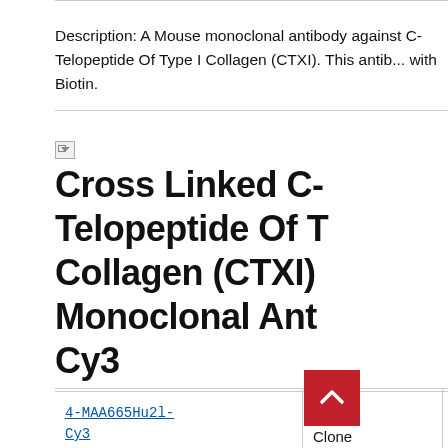Description: A Mouse monoclonal antibody against C-Telopeptide Of Type I Collagen (CTXI). This antib... with Biotin.
[Figure (other): Broken image icon placeholder]
Cross Linked C-Telopeptide Of T... Collagen (CTXI) Monoclonal Ant... Cy3
| Catalog | Brand | Price |
| --- | --- | --- |
| 4-MAA665Hu2l-Cy3 | Cloud-Clone | 457.00 EUR
4877.0... EUR
313.00... UR
600.00 EUR... |